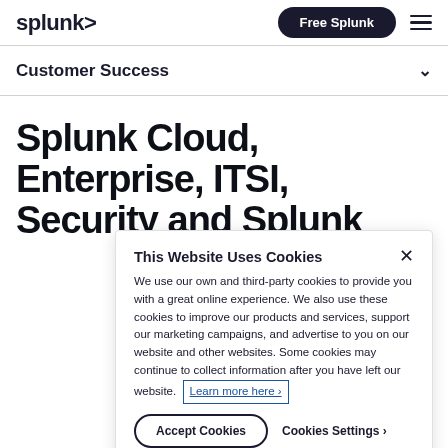splunk> Free Splunk ≡
Customer Success
Splunk Cloud, Enterprise, ITSI, Security and Splunk
This Website Uses Cookies
We use our own and third-party cookies to provide you with a great online experience. We also use these cookies to improve our products and services, support our marketing campaigns, and advertise to you on our website and other websites. Some cookies may continue to collect information after you have left our website. Learn more here ›
Accept Cookies   Cookies Settings ›